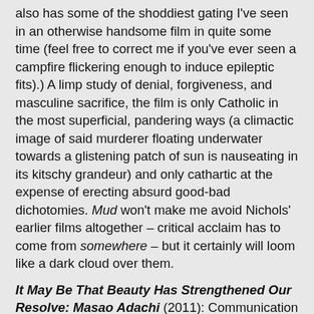also has some of the shoddiest gating I've seen in an otherwise handsome film in quite some time (feel free to correct me if you've ever seen a campfire flickering enough to induce epileptic fits).) A limp study of denial, forgiveness, and masculine sacrifice, the film is only Catholic in the most superficial, pandering ways (a climactic image of said murderer floating underwater towards a glistening patch of sun is nauseating in its kitschy grandeur) and only cathartic at the expense of erecting absurd good-bad dichotomies. Mud won't make me avoid Nichols' earlier films altogether – critical acclaim has to come from somewhere – but it certainly will loom like a dark cloud over them.
It May Be That Beauty Has Strengthened Our Resolve: Masao Adachi (2011): Communication between two artists. A film that finds its own structure and rhythm as it's made, that responds intuitively to subtle changes within the filmed space. Grandrieux makes nothing less than an effort to sync his own consciousness up with that of Adachi, to meld two ways of looking at the world into one. The thrill of the film is not the extent to which this harmony is achieved (at a certain point, it's impossible no matter how close Grandrieux's